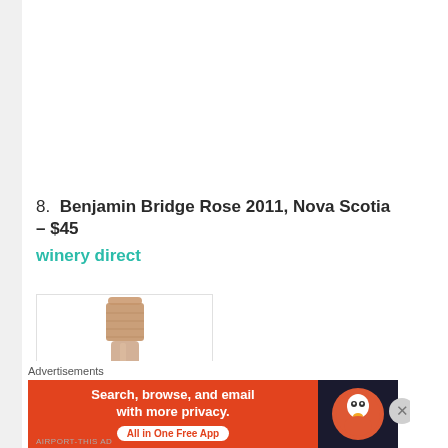8. Benjamin Bridge Rose 2011, Nova Scotia – $45 winery direct
[Figure (photo): Top portion of a rose wine bottle with copper/pink metallic foil capsule, partially visible label reading 'BRIDGE']
Advertisements
[Figure (screenshot): DuckDuckGo advertisement banner. Left orange section reads 'Search, browse, and email with more privacy. All in One Free App'. Right dark section shows DuckDuckGo duck logo.]